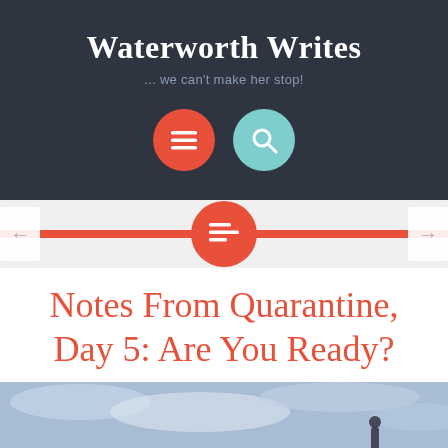Waterworth Writes
... we can't make her stop!
Notes From Quarantine, Day 5: Are You Ready?
[Figure (photo): A person standing against a cloudy sky, viewed from behind, at the bottom of the page]